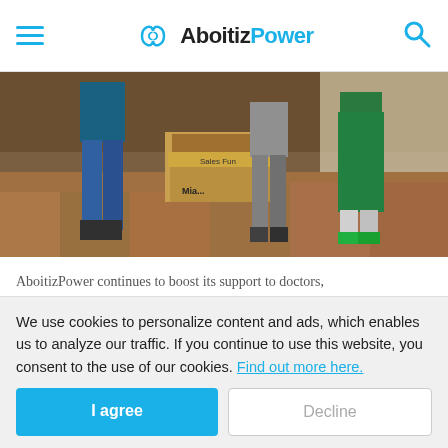AboitizPower
[Figure (photo): People standing near cardboard boxes in an indoor setting. One person wears a green apron. The scene appears to be a donation or goods collection event.]
AboitizPower continues to boost its support to doctors,
We use cookies to personalize content and ads, which enables us to analyze our traffic. If you continue to use this website, you consent to the use of our cookies. Find out more here.
I agree | Decline